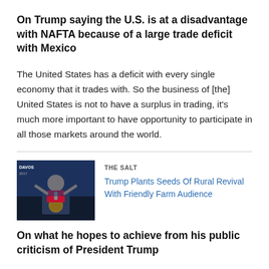On Trump saying the U.S. is at a disadvantage with NAFTA because of a large trade deficit with Mexico
The United States has a deficit with every single economy that it trades with. So the business of [the] United States is not to have a surplus in trading, it's much more important to have opportunity to participate in all those markets around the world.
[Figure (photo): Photo of a man speaking at a podium with a presidential seal, gesturing with his hands, against a dark blue background]
THE SALT
Trump Plants Seeds Of Rural Revival With Friendly Farm Audience
On what he hopes to achieve from his public criticism of President Trump